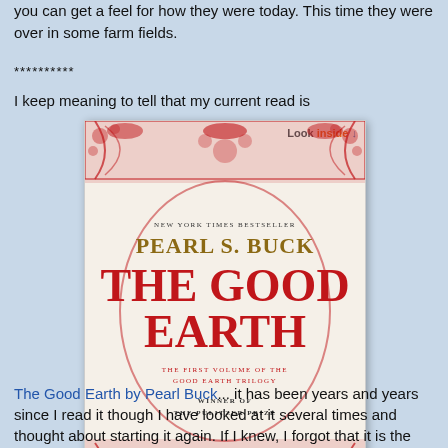you can get a feel for how they were today. This time they were over in some farm fields.
**********
I keep meaning to tell that my current read is
[Figure (photo): Book cover of 'The Good Earth' by Pearl S. Buck, a New York Times Bestseller, winner of the Pulitzer Prize. The cover features red ornamental border designs on a cream background. Title in large red letters, author name in gold. 'Look inside' button visible in top right corner.]
The Good Earth by Pearl Buck... it has been years and years since I read it though I have looked at it several times and thought about starting it again. If I knew, I forgot that it is the